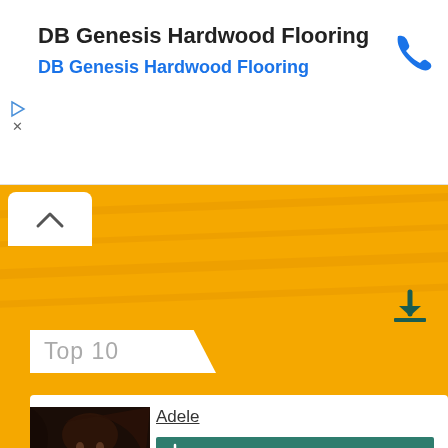[Figure (screenshot): Advertisement banner for DB Genesis Hardwood Flooring with phone icon]
DB Genesis Hardwood Flooring
DB Genesis Hardwood Flooring
[Figure (screenshot): Yellow background music top 10 section header with up-arrow chevron button and Top 10 label]
Top 10
[Figure (photo): Photo of Adele with dark hair against dark background]
Adele
91895
[Figure (photo): Photo of Linkin Park band members standing outdoors]
Linkin Park
88962